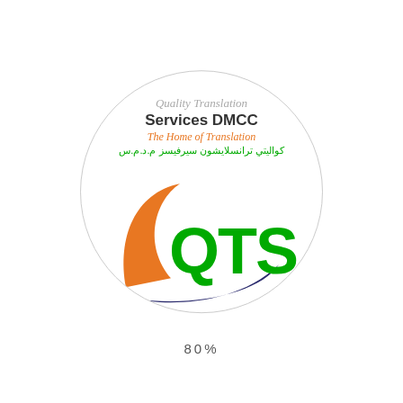[Figure (logo): QTS Quality Translation Services DMCC circular logo with orange and dark blue swoosh shapes, green QTS lettering in center, English and Arabic text at top]
80%